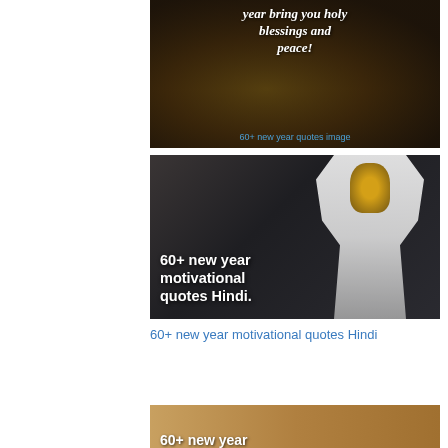[Figure (photo): Photo showing hands performing a ritual with a bowl, overlaid with italic bold white text reading 'year bring you holy blessings and peace!' and a blue caption link '60+ new year quotes image']
[Figure (photo): Dark background photo with a decorated Hindu deity figure dressed in white, overlaid with bold white text '60+ new year motivational quotes Hindi.']
60+ new year motivational quotes Hindi
[Figure (photo): Partial photo with warm golden/brown background showing the beginning of text '60+ new year' in white bold font]